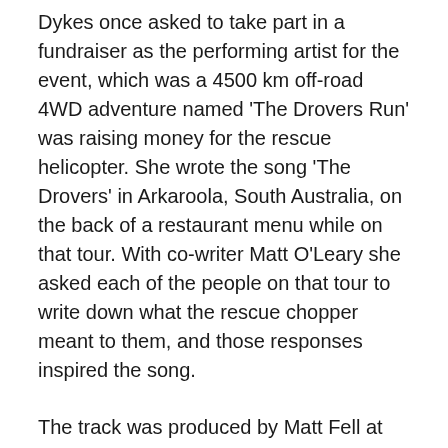Dykes once asked to take part in a fundraiser as the performing artist for the event, which was a 4500 km off-road 4WD adventure named ‘The Drovers Run’ was raising money for the rescue helicopter. She wrote the song ‘The Drovers’ in Arkaroola, South Australia, on the back of a restaurant menu while on that tour. With co-writer Matt O’Leary she asked each of the people on that tour to write down what the rescue chopper meant to them, and those responses inspired the song.
The track was produced by Matt Fell at Love Hz Studios and unites the hard yakka of the fundraising Drovers with the importance of the Westpac Rescue Helicopter itself. It also draws on the work of the drover as we usually know it, mustering cattle across expanses of countryside.